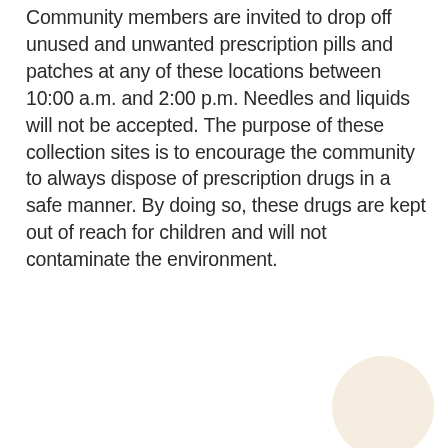Community members are invited to drop off unused and unwanted prescription pills and patches at any of these locations between 10:00 a.m. and 2:00 p.m. Needles and liquids will not be accepted. The purpose of these collection sites is to encourage the community to always dispose of prescription drugs in a safe manner. By doing so, these drugs are kept out of reach for children and will not contaminate the environment.